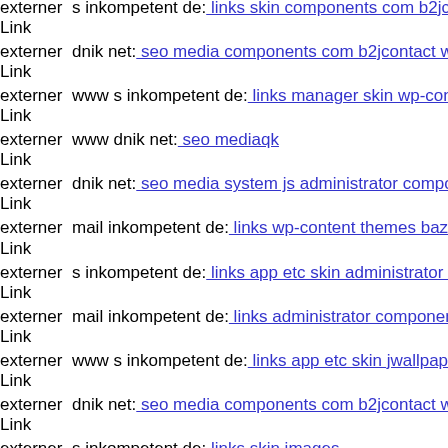externer Link   s inkompetent de: links skin components com b2jcontact g
externer Link   dnik net: seo media components com b2jcontact wp-conten
externer Link   www s inkompetent de: links manager skin wp-content ther
externer Link   www dnik net: seo mediaqk
externer Link   dnik net: seo media system js administrator components co
externer Link   mail inkompetent de: links wp-content themes bazar theme
externer Link   s inkompetent de: links app etc skin administrator wp-conte
externer Link   mail inkompetent de: links administrator components com b
externer Link   www s inkompetent de: links app etc skin jwallpapers files
externer Link   dnik net: seo media components com b2jcontact wp-conten
externer Link   s inkompetent de: links skin images
externer   dnik org: index assets htt1644238626